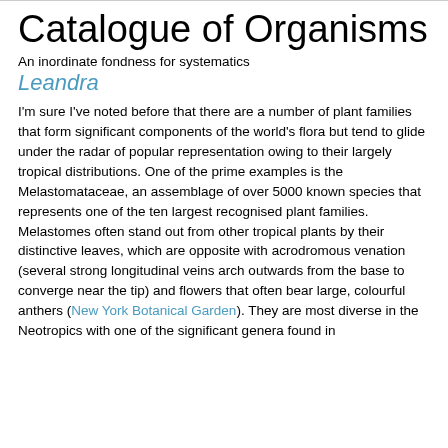Catalogue of Organisms
An inordinate fondness for systematics
Leandra
I'm sure I've noted before that there are a number of plant families that form significant components of the world's flora but tend to glide under the radar of popular representation owing to their largely tropical distributions. One of the prime examples is the Melastomataceae, an assemblage of over 5000 known species that represents one of the ten largest recognised plant families. Melastomes often stand out from other tropical plants by their distinctive leaves, which are opposite with acrodromous venation (several strong longitudinal veins arch outwards from the base to converge near the tip) and flowers that often bear large, colourful anthers (New York Botanical Garden). They are most diverse in the Neotropics with one of the significant genera found in